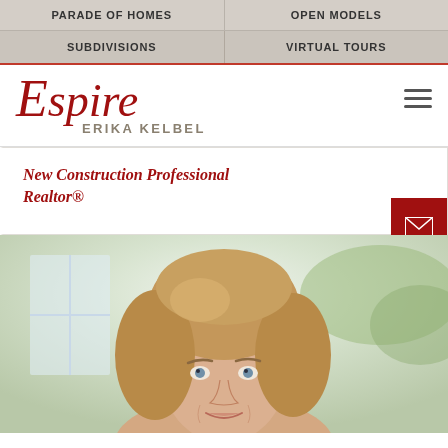PARADE OF HOMES | OPEN MODELS
SUBDIVISIONS | VIRTUAL TOURS
[Figure (logo): Espire script logo in red with agent name ERIKA KELBEL below]
New Construction Professional Realtor®
[Figure (photo): Professional headshot of a woman with blonde/light brown hair against a bright indoor background]